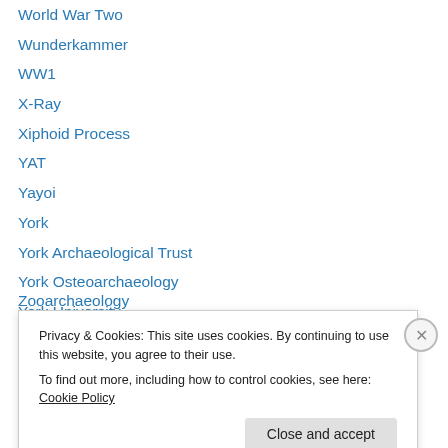World War Two
Wunderkammer
WW1
X-Ray
Xiphoid Process
YAT
Yayoi
York
York Archaeological Trust
York Osteoarchaeology
York University
You Are What You Eat
Zimbabwe
Zooarchaeology
Privacy & Cookies: This site uses cookies. By continuing to use this website, you agree to their use.
To find out more, including how to control cookies, see here: Cookie Policy
Close and accept